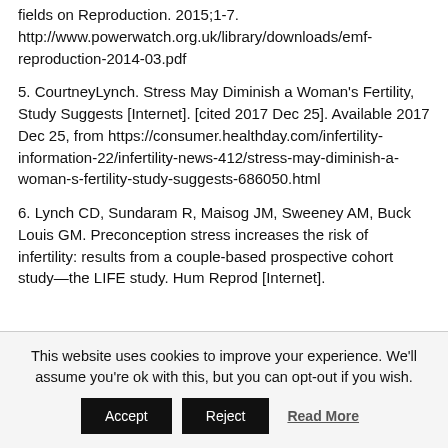fields on Reproduction. 2015;1-7. http://www.powerwatch.org.uk/library/downloads/emf-reproduction-2014-03.pdf
5. CourtneyLynch. Stress May Diminish a Woman's Fertility, Study Suggests [Internet]. [cited 2017 Dec 25]. Available 2017 Dec 25, from https://consumer.healthday.com/infertility-information-22/infertility-news-412/stress-may-diminish-a-woman-s-fertility-study-suggests-686050.html
6. Lynch CD, Sundaram R, Maisog JM, Sweeney AM, Buck Louis GM. Preconception stress increases the risk of infertility: results from a couple-based prospective cohort study—the LIFE study. Hum Reprod [Internet].
This website uses cookies to improve your experience. We'll assume you're ok with this, but you can opt-out if you wish.